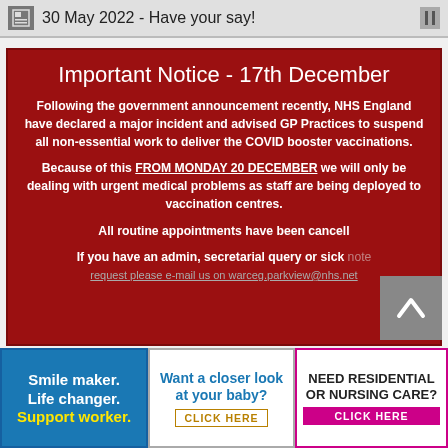30 May 2022 - Have your say!
Important Notice - 17th December
Following the government announcement recently, NHS England have declared a major incident and advised GP Practices to suspend all non-essential work to deliver the COVID booster vaccinations.
Because of this FROM MONDAY 20 DECEMBER we will only be dealing with urgent medical problems as staff are being deployed to vaccination centres.
All routine appointments have been cancelled.
If you have an admin, secretarial query or sick note request please e-mail us on warceg.parkview@nhs.net
[Figure (other): Scroll to top button with upward chevron arrow on grey background]
Smile maker. Life changer. Support worker.
Want a closer look at your baby? CLICK HERE
NEED RESIDENTIAL OR NURSING CARE? CLICK HERE